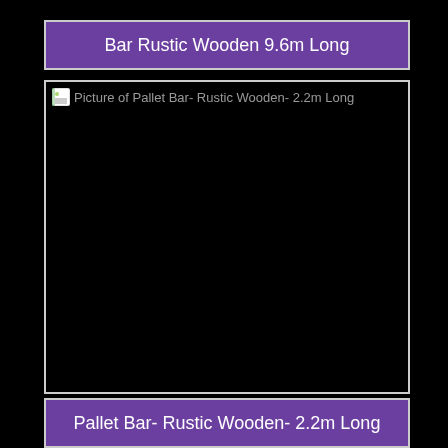Bar Rustic Wooden 9.6m Long
[Figure (photo): Picture of Pallet Bar- Rustic Wooden- 2.2m Long. Image appears black/failed to load, with alt text visible at top.]
Pallet Bar- Rustic Wooden- 2.2m Long